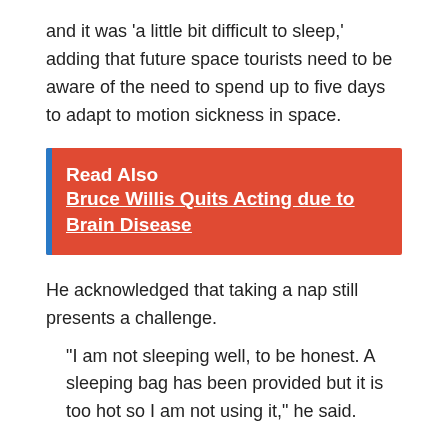and it was ‘a little bit difficult to sleep,’ adding that future space tourists need to be aware of the need to spend up to five days to adapt to motion sickness in space.
Read Also  Bruce Willis Quits Acting due to Brain Disease
He acknowledged that taking a nap still presents a challenge.
“I am not sleeping well, to be honest. A sleeping bag has been provided but it is too hot so I am not using it,” he said.
He was happy with the length of his trip.